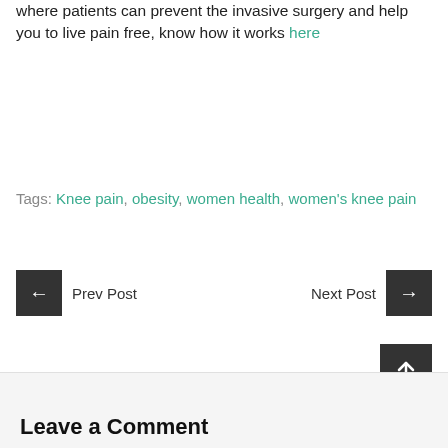where patients can prevent the invasive surgery and help you to live pain free, know how it works here
Tags: Knee pain, obesity, women health, women's knee pain
Prev Post
Next Post
Leave a Comment